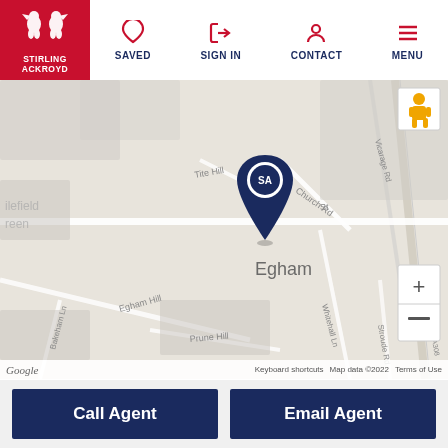[Figure (logo): Stirling Ackroyd logo - red background with white griffin/lion heraldic logo and company name text]
SAVED   SIGN IN   CONTACT   MENU
[Figure (map): Google Maps showing Egham area with a location pin marker with Stirling Ackroyd logo, showing streets including Tite Hill, Church Rd, Egham Hill, Prune Hill, Bakeham Ln, Whitehall Ln, Stroude Rd, London Orbital Motorway, Vicarage Rd. Map data ©2022]
Keyboard shortcuts   Map data ©2022   Terms of Use
Call Agent
Email Agent